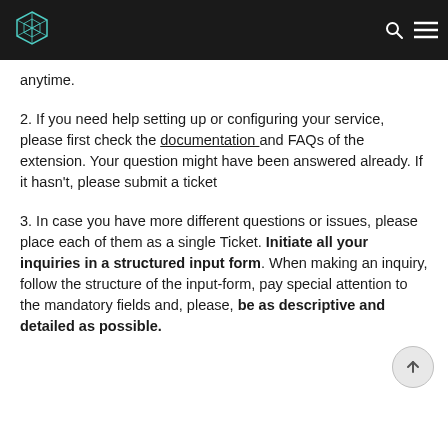[navigation header with logo and icons]
anytime.
2. If you need help setting up or configuring your service, please first check the documentation and FAQs of the extension. Your question might have been answered already. If it hasn't, please submit a ticket
3. In case you have more different questions or issues, please place each of them as a single Ticket. Initiate all your inquiries in a structured input form. When making an inquiry, follow the structure of the input-form, pay special attention to the mandatory fields and, please, be as descriptive and detailed as possible.